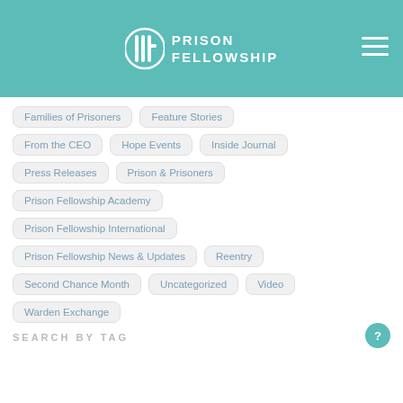Prison Fellowship
Families of Prisoners
Feature Stories
From the CEO
Hope Events
Inside Journal
Press Releases
Prison & Prisoners
Prison Fellowship Academy
Prison Fellowship International
Prison Fellowship News & Updates
Reentry
Second Chance Month
Uncategorized
Video
Warden Exchange
SEARCH BY TAG